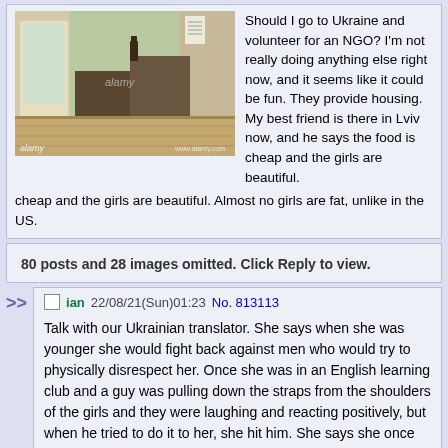[Figure (photo): Indoor hallway/foyer photo with alamy watermark]
Should I go to Ukraine and volunteer for an NGO? I'm not really doing anything else right now, and it seems like it could be fun. They provide housing. My best friend is there in Lviv now, and he says the food is cheap and the girls are beautiful. Almost no girls are fat, unlike in the US.
80 posts and 28 images omitted. Click Reply to view.
ian 22/08/21(Sun)01:23 No. 813113
Talk with our Ukrainian translator. She says when she was younger she would fight back against men who would try to physically disrespect her. Once she was in an English learning club and a guy was pulling down the straps from the shoulders of the girls and they were laughing and reacting positively, but when he tried to do it to her, she hit him. She says she once broke a guy's arm. She talks about how it's normal for men to beat women in the east, and the women even consider it undesirable for men not to be so aggressive. We go downstairs and talk with other Ukrainian guys. They talk about penises. She says she used to want to be more of a man, but hearing them talk like that makes her want to be a woman again. The two of us walk to the city center and walk around for hours. She spends most of the time